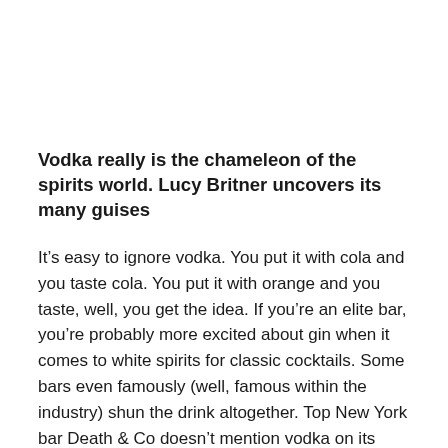Vodka really is the chameleon of the spirits world. Lucy Britner uncovers its many guises
It’s easy to ignore vodka. You put it with cola and you taste cola. You put it with orange and you taste, well, you get the idea. If you’re an elite bar, you’re probably more excited about gin when it comes to white spirits for classic cocktails. Some bars even famously (well, famous within the industry) shun the drink altogether. Top New York bar Death & Co doesn’t mention vodka on its menu. But if you’ve made the effort to find out about the place and pay it a visit, chances are vodka is at the back of your mind.
Then there are the flavours – in the UK we have enjoyed